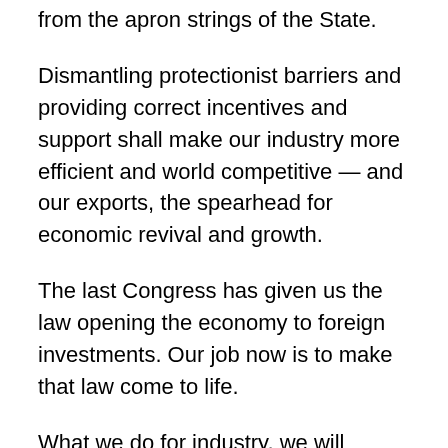from the apron strings of the State.
Dismantling protectionist barriers and providing correct incentives and support shall make our industry more efficient and world competitive — and our exports, the spearhead for economic revival and growth.
The last Congress has given us the law opening the economy to foreign investments. Our job now is to make that law come to life.
What we do for industry, we will supply in equal measure for agriculture, primarily because almost half of all our workers still live on it. And equally because agriculture is the foundation for our industrial modernization.
In this effort, we need a more realistic agrarian reform law which we can fully implement for the empowerment of our farmers. Keeping productivity and effective land use